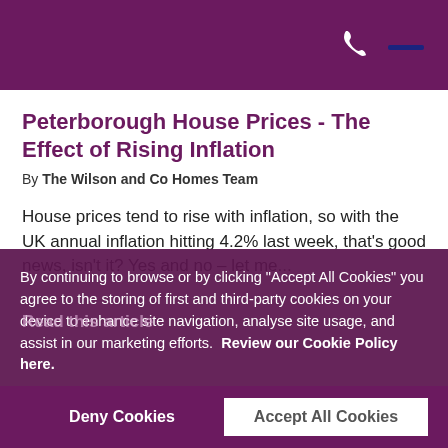Wilson and Co Homes — navigation header with phone icon
Peterborough House Prices - The Effect of Rising Inflation
By The Wilson and Co Homes Team
House prices tend to rise with inflation, so with the UK annual inflation hitting 4.2% last week, that's good news, isn't it? Yes and no – let me...
Read this article
By continuing to browse or by clicking "Accept All Cookies" you agree to the storing of first and third-party cookies on your device to enhance site navigation, analyse site usage, and assist in our marketing efforts.  Review our Cookie Policy here.
Deny Cookies
Accept All Cookies